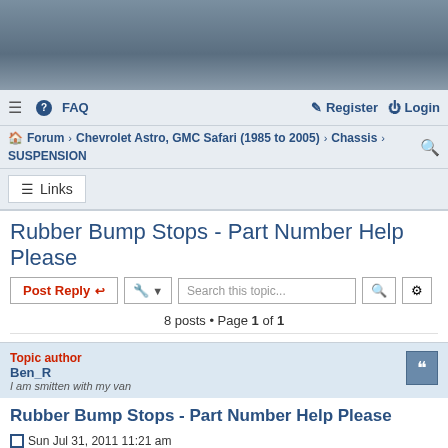[Figure (screenshot): Gray gradient banner area at the top of the forum page]
≡  FAQ   Register  Login
Forum › Chevrolet Astro, GMC Safari (1985 to 2005) › Chassis › SUSPENSION
≡ Links
Rubber Bump Stops - Part Number Help Please
Post Reply  [tool]  Search this topic...  8 posts • Page 1 of 1
Topic author
Ben_R
I am smitten with my van
Rubber Bump Stops - Part Number Help Please
Sun Jul 31, 2011 11:21 am
Whilst under the van today I noticed that the rubber bump stops (if that is the correct term) at the rear of the van had deteriorated and it lit...